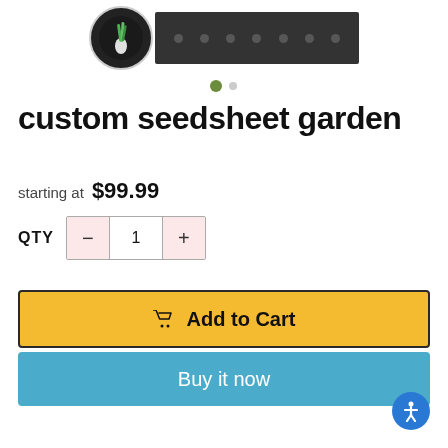[Figure (photo): Product image area showing a circular thumbnail of green onion/scallion on a dark strip background with navigation dots]
custom seedsheet garden
starting at  $99.99
QTY  −  1  +
🛒 Add to Cart
Buy it now